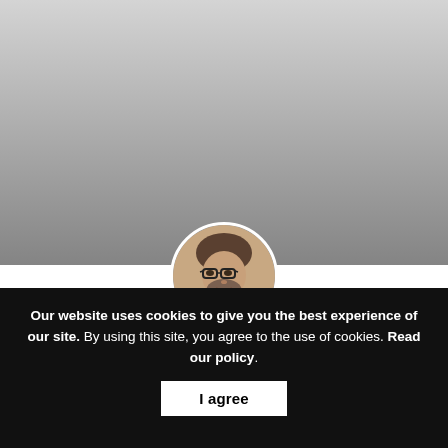[Figure (photo): Hero banner with grey gradient background (light grey at top, darker grey towards bottom)]
[Figure (photo): Circular profile photo of a man with glasses and a beard, wearing a dark t-shirt, positioned at the boundary between the grey hero area and white content area]
Summer heating & radiator tips
Our website uses cookies to give you the best experience of our site. By using this site, you agree to the use of cookies. Read our policy.
I agree